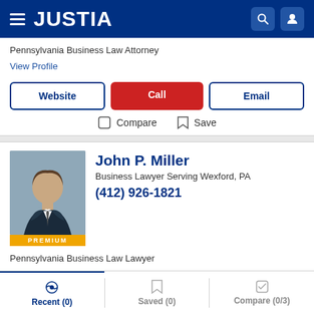JUSTIA
Pennsylvania Business Law Attorney
View Profile
Website | Call | Email
Compare   Save
[Figure (photo): Photo of John P. Miller, attorney, wearing dark suit and tie, with PREMIUM badge below]
John P. Miller
Business Lawyer Serving Wexford, PA
(412) 926-1821
Pennsylvania Business Law Lawyer
Recent (0)   Saved (0)   Compare (0/3)